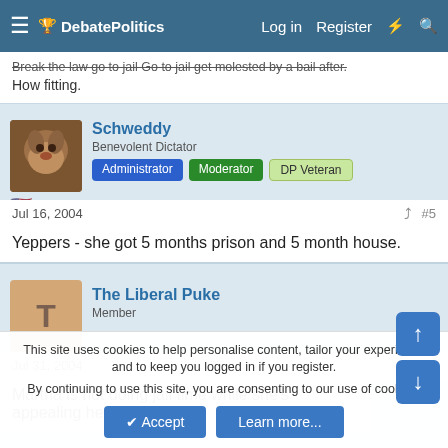DebatePolitics — Log in | Register
Break the law go to jail Go to jail get molested by a bail after. How fitting.
Schweddy
Benevolent Dictator | Administrator | Moderator | DP Veteran
Jul 16, 2004 #5
Yeppers - she got 5 months prison and 5 month house.
The Liberal Puke
Member
Jul 31, 2004 #6
Martha is not doing jail time while she's appealing her conviction,
This site uses cookies to help personalise content, tailor your experience and to keep you logged in if you register.
By continuing to use this site, you are consenting to our use of cookies.